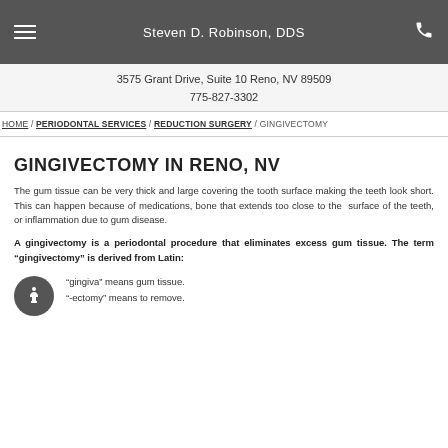Steven D. Robinson, DDS
3575 Grant Drive, Suite 10 Reno, NV 89509
775-827-3302
HOME / PERIODONTAL SERVICES / REDUCTION SURGERY / GINGIVECTOMY
GINGIVECTOMY IN RENO, NV
The gum tissue can be very thick and large covering the tooth surface making the teeth look short. This can happen because of medications, bone that extends too close to the surface of the teeth, or inflammation due to gum disease.
A gingivectomy is a periodontal procedure that eliminates excess gum tissue. The term “gingivectomy” is derived from Latin:
“gingiva” means gum tissue.
“-ectomy” means to remove.